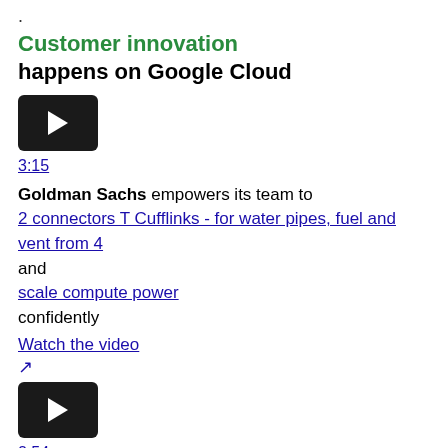.
Customer innovation
happens on Google Cloud
[Figure (screenshot): Black YouTube-style video thumbnail with play button]
3:15
Goldman Sachs empowers its team to
2 connectors T Cufflinks - for water pipes, fuel and vent from 4
and
scale compute power
confidently
Watch the video
[Figure (screenshot): External link icon]
[Figure (screenshot): Black YouTube-style video thumbnail with play button]
2:54
Spotify powers the playlists of 381 million monthly listeners with Google Cloud
Watch the video
[Figure (screenshot): External link icon]